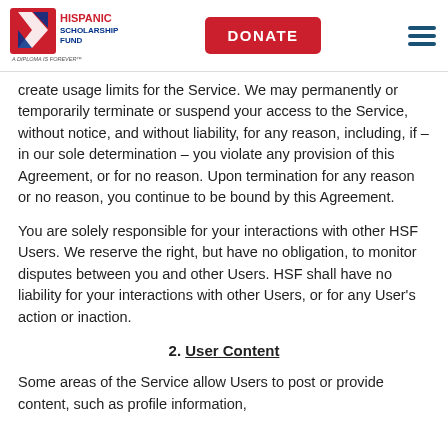Hispanic Scholarship Fund | DONATE
create usage limits for the Service. We may permanently or temporarily terminate or suspend your access to the Service, without notice, and without liability, for any reason, including, if – in our sole determination – you violate any provision of this Agreement, or for no reason. Upon termination for any reason or no reason, you continue to be bound by this Agreement.
You are solely responsible for your interactions with other HSF Users. We reserve the right, but have no obligation, to monitor disputes between you and other Users. HSF shall have no liability for your interactions with other Users, or for any User's action or inaction.
2. User Content
Some areas of the Service allow Users to post or provide content, such as profile information,